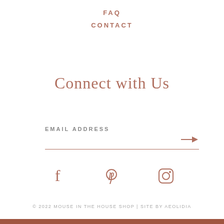FAQ
CONTACT
Connect with Us
EMAIL ADDRESS →
[Figure (other): Social media icons: Facebook, Pinterest, Instagram]
© 2022 MOUSE IN THE HOUSE SHOP | SITE BY AEOLIDIA